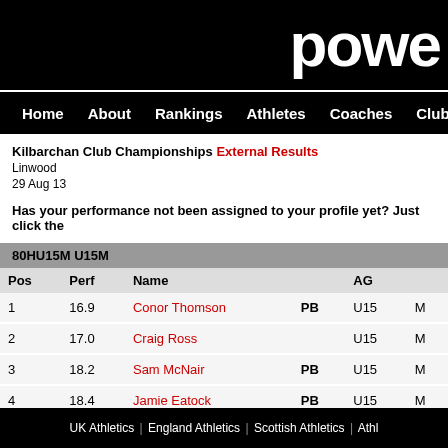powe
Home  About  Rankings  Athletes  Coaches  Clubs  Highlight
Kilbarchan Club Championships External Results
Linwood
29 Aug 13
Has your performance not been assigned to your profile yet? Just click the
| Pos | Perf | Name |  | AG |  |
| --- | --- | --- | --- | --- | --- |
| 1 | 16.9 | Conor Thomson | PB | U15 | M |
| 2 | 17.0 | Craig Ross |  | U15 | M |
| 3 | 18.2 | Sam McNair | PB | U15 | M |
| 4 | 18.4 | Jamie Eatock | PB | U15 | M |
UK Athletics |  England Athletics |  Scottish Athletics |  Athl